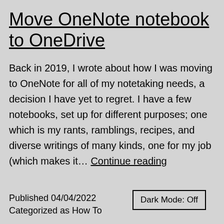Move OneNote notebook to OneDrive
Back in 2019, I wrote about how I was moving to OneNote for all of my notetaking needs, a decision I have yet to regret. I have a few notebooks, set up for different purposes; one which is my rants, ramblings, recipes, and diverse writings of many kinds, one for my job (which makes it… Continue reading
Published 04/04/2022
Categorized as How To
Dark Mode: Off